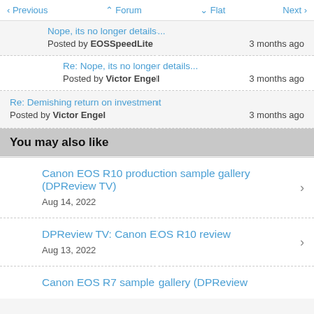< Previous   ^ Forum   v Flat   Next >
Nope, its no longer details...
Posted by EOSSpeedLite   3 months ago
Re: Nope, its no longer details...
Posted by Victor Engel   3 months ago
Re: Demishing return on investment
Posted by Victor Engel   3 months ago
You may also like
Canon EOS R10 production sample gallery (DPReview TV)
Aug 14, 2022
DPReview TV: Canon EOS R10 review
Aug 13, 2022
Canon EOS R7 sample gallery (DPReview